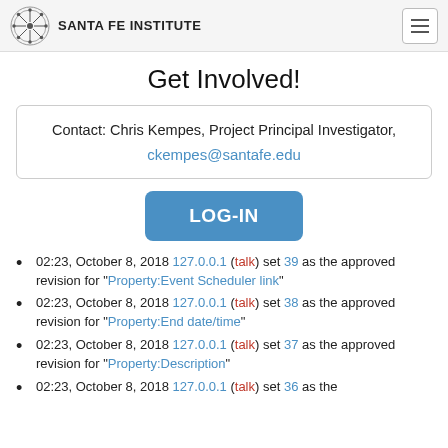SANTA FE INSTITUTE
Get Involved!
Contact: Chris Kempes, Project Principal Investigator, ckempes@santafe.edu
LOG-IN
02:23, October 8, 2018 127.0.0.1 (talk) set 39 as the approved revision for "Property:Event Scheduler link"
02:23, October 8, 2018 127.0.0.1 (talk) set 38 as the approved revision for "Property:End date/time"
02:23, October 8, 2018 127.0.0.1 (talk) set 37 as the approved revision for "Property:Description"
02:23, October 8, 2018 127.0.0.1 (talk) set 36 as the